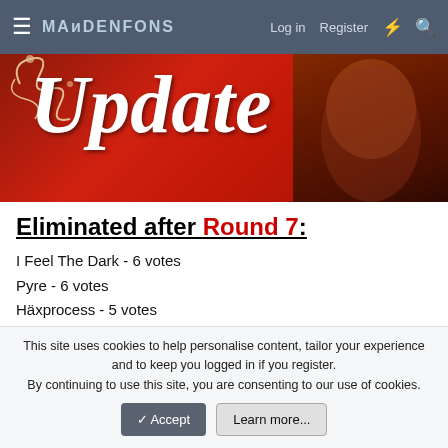MAIDEN-FANS | Log in | Register
[Figure (illustration): Red banner image with gothic script reading 'Update' and a dark figure face on the right side]
Eliminated after Round 7:
I Feel The Dark - 6 votes
Pyre - 6 votes
Häxprocess - 5 votes
Famine - 5 votes
Watershed joins the game!
This site uses cookies to help personalise content, tailor your experience and to keep you logged in if you register. By continuing to use this site, you are consenting to our use of cookies.